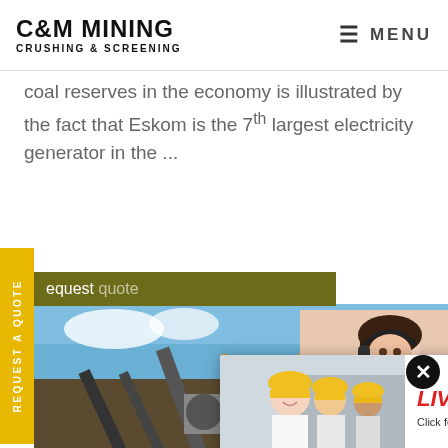C&M MINING CRUSHING & SCREENING | MENU
coal reserves in the economy is illustrated by the fact that Eskom is the 7th largest electricity generator in the ...
[Figure (screenshot): Yellow sidebar button with vertical text REQUEST A QUOTE; olive green bar with partial text 'equest quote'; live chat popup with workers in hard hats, LIVE CHAT heading in red italic, Chat now and Chat later buttons; mining equipment background photo; customer service representative photo on right; Have any requests click here box with Quotation button; close X buttons]
LIVE CHAT
Click for a Free Consultation
Chat now
Chat later
Have any requests, click here.
Quotation
REQUEST A QUOTE